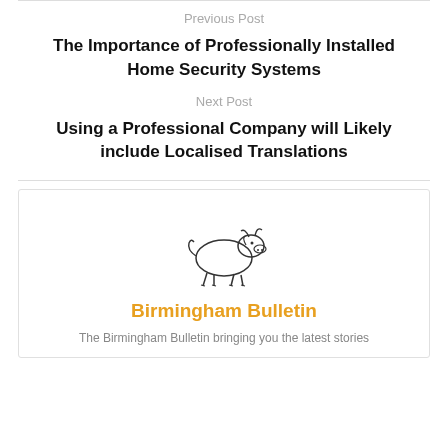Previous Post
The Importance of Professionally Installed Home Security Systems
Next Post
Using a Professional Company will Likely include Localised Translations
[Figure (illustration): Line drawing of a bull (Birmingham Bull logo)]
Birmingham Bulletin
The Birmingham Bulletin bringing you the latest stories